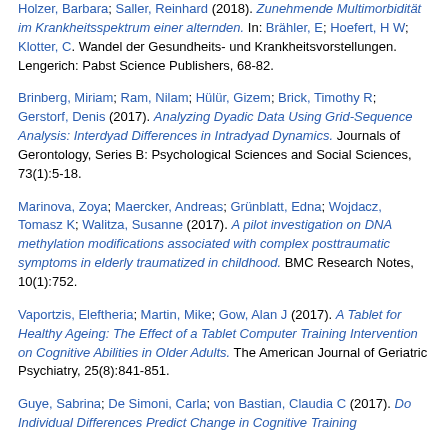Holzer, Barbara; Saller, Reinhard (2018). Zunehmende Multimorbidität im Krankheitsspektrum einer alternden. In: Brähler, E; Hoefert, H W; Klotter, C. Wandel der Gesundheits- und Krankheitsvorstellungen. Lengerich: Pabst Science Publishers, 68-82.
Brinberg, Miriam; Ram, Nilam; Hülür, Gizem; Brick, Timothy R; Gerstorf, Denis (2017). Analyzing Dyadic Data Using Grid-Sequence Analysis: Interdyad Differences in Intradyad Dynamics. Journals of Gerontology, Series B: Psychological Sciences and Social Sciences, 73(1):5-18.
Marinova, Zoya; Maercker, Andreas; Grünblatt, Edna; Wojdacz, Tomasz K; Walitza, Susanne (2017). A pilot investigation on DNA methylation modifications associated with complex posttraumatic symptoms in elderly traumatized in childhood. BMC Research Notes, 10(1):752.
Vaportzis, Eleftheria; Martin, Mike; Gow, Alan J (2017). A Tablet for Healthy Ageing: The Effect of a Tablet Computer Training Intervention on Cognitive Abilities in Older Adults. The American Journal of Geriatric Psychiatry, 25(8):841-851.
Guye, Sabrina; De Simoni, Carla; von Bastian, Claudia C (2017). Do Individual Differences Predict Change in Cognitive Training...